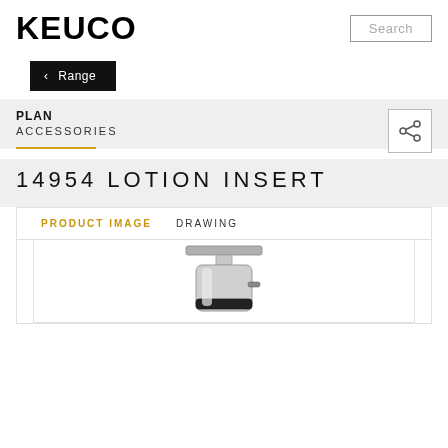KEUCO
Search
< Range
PLAN
ACCESSORIES
14954 LOTION INSERT
PRODUCT IMAGE   DRAWING
[Figure (photo): Product photo of KEUCO Plan 14954 Lotion Insert, showing a chrome cylindrical lotion dispenser with a flat top lever/handle and a black collar near the base, on a white background.]